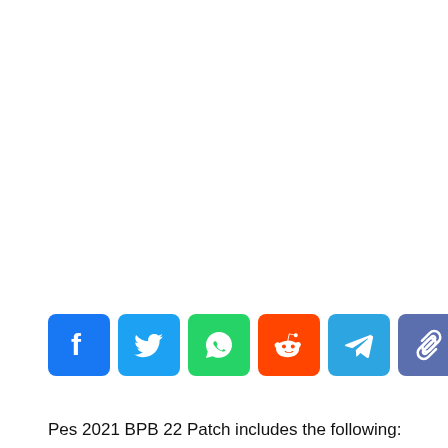[Figure (other): Row of six social media share buttons: Facebook (blue), Twitter (light blue), WhatsApp (green), Reddit (orange-red), Telegram (blue), Copy Link (slate blue)]
Pes 2021 BPB 22 Patch includes the following: